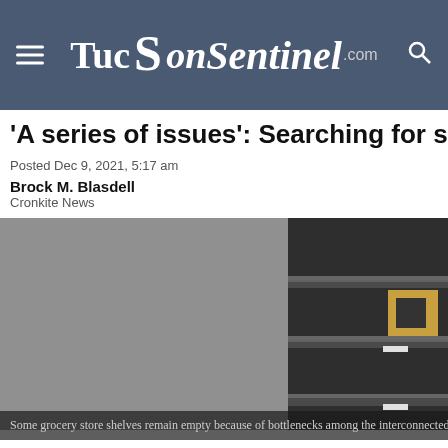TucsonSentinel.com
'A series of issues': Searching for solutio
Posted Dec 9, 2021, 5:17 am
Brock M. Blasdell
Cronkite News
[Figure (photo): A split image showing an empty gray area on the left and grocery store shelves on the right with mostly empty shelves and a single box item visible]
Some grocery store shelves remain empty because of bottlenecks among the interconnected